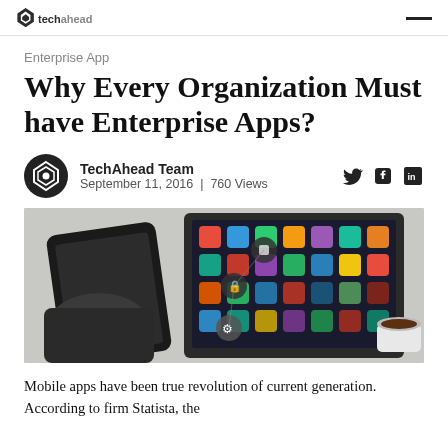techahead [logo]
Enterprise App
Why Every Organization Must have Enterprise Apps?
TechAhead Team
September 11, 2016  |  760 Views
[Figure (photo): Person holding a smartphone with a tablet displaying app icons in the background, alongside a coffee cup on a desk.]
Mobile apps have been true revolution of current generation. According to firm Statista, the